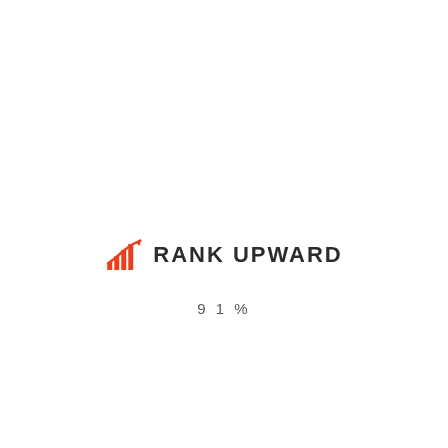[Figure (logo): Rank Upward logo: orange bar chart with upward arrow icon followed by bold dark text 'RANK UPWARD']
91%